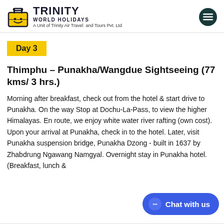TRINITY WORLD HOLIDAYS — A Unit of Trinity Air Travel and Tours Pvt. Ltd
Day 3
Thimphu – Punakha/Wangdue Sightseeing (77 kms/ 3 hrs.)
Morning after breakfast, check out from the hotel & start drive to Punakha. On the way Stop at Dochu-La-Pass, to view the higher Himalayas. En route, we enjoy white water river rafting (own cost). Upon your arrival at Punakha, check in to the hotel. Later, visit Punakha suspension bridge, Punakha Dzong - built in 1637 by Zhabdrung Ngawang Namgyal. Overnight stay in Punakha hotel. (Breakfast, lunch &